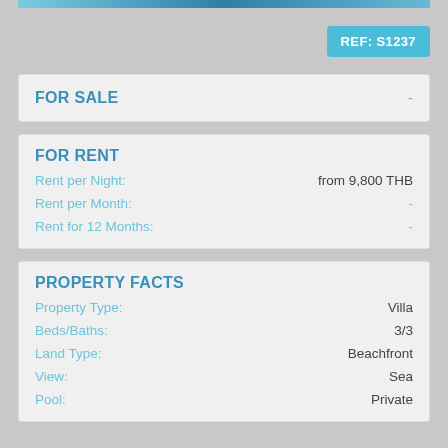[Figure (photo): Photo strip at top of page]
REF: S1237
FOR SALE
FOR RENT
Rent per Night: from 9,800 THB
Rent per Month: -
Rent for 12 Months: -
PROPERTY FACTS
Property Type: Villa
Beds/Baths: 3/3
Land Type: Beachfront
View: Sea
Pool: Private